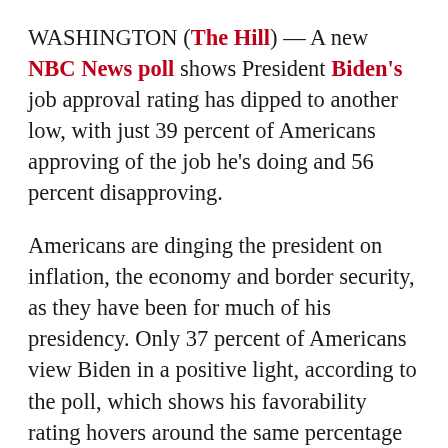WASHINGTON (The Hill) — A new NBC News poll shows President Biden's job approval rating has dipped to another low, with just 39 percent of Americans approving of the job he's doing and 56 percent disapproving.
Americans are dinging the president on inflation, the economy and border security, as they have been for much of his presidency. Only 37 percent of Americans view Biden in a positive light, according to the poll, which shows his favorability rating hovers around the same percentage currently as former President Trump's.
Biden appears to have lost ground once again after making some gains. Earlier this month, 42 percent of Americans approved of Biden's job in a Washington Post-ABC News poll, which was